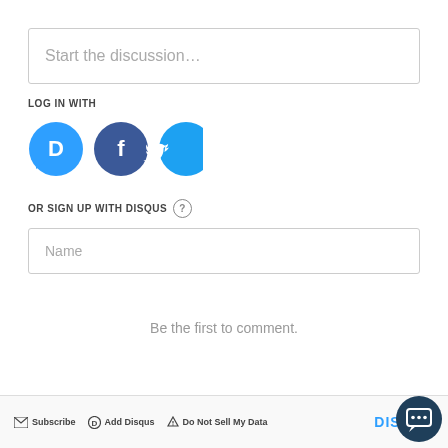Start the discussion…
LOG IN WITH
[Figure (illustration): Four social login icons: Disqus (blue circle with D), Facebook (dark blue circle with f), Twitter (light blue circle with bird), Google (red circle with G)]
OR SIGN UP WITH DISQUS ?
Name
Be the first to comment.
Subscribe  Add Disqus  Do Not Sell My Data  DISQUS